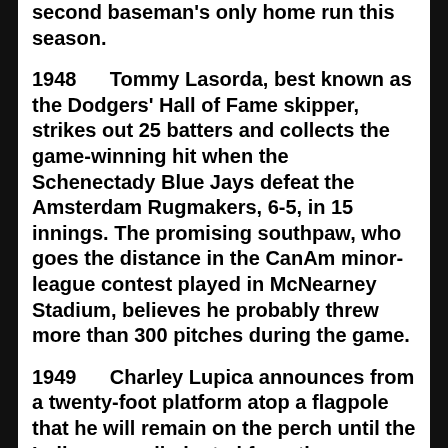second baseman's only home run this season.
1948      Tommy Lasorda, best known as the Dodgers' Hall of Fame skipper, strikes out 25 batters and collects the game-winning hit when the Schenectady Blue Jays defeat the Amsterdam Rugmakers, 6-5, in 15 innings. The promising southpaw, who goes the distance in the CanAm minor-league contest played in McNearney Stadium, believes he probably threw more than 300 pitches during the game.
1949      Charley Lupica announces from a twenty-foot platform atop a flagpole that he will remain on the perch until the Indians are eliminated from the race or win another pennant. Although the local grocery store owner abandons his post in late September with the Tribe in fourth place, Cleveland owner Bill Veeck will reward the loyal fan with a souvenir 50-foot flagpole and a brand new